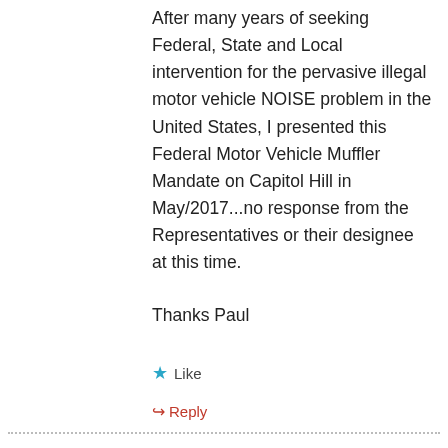After many years of seeking Federal, State and Local intervention for the pervasive illegal motor vehicle NOISE problem in the United States, I presented this Federal Motor Vehicle Muffler Mandate on Capitol Hill in May/2017...no response from the Representatives or their designee at this time.
Thanks Paul
★ Like
↳ Reply
August 31, 2021 at 2:07 pm
I have downloaded and printed the